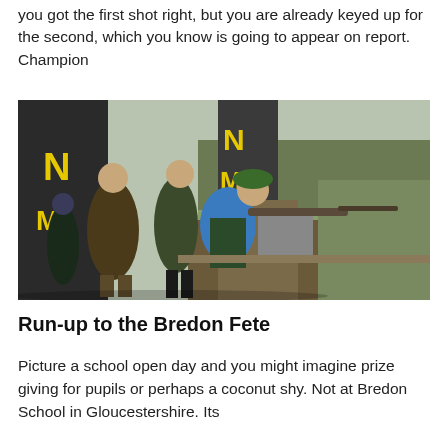you got the first shot right, but you are already keyed up for the second, which you know is going to appear on report. Champion
[Figure (photo): A young person in a blue jacket and green cap aiming a shotgun at a shooting range, with two adults watching nearby. Yellow and black banner signs are visible in the background along with trees and an open field.]
Run-up to the Bredon Fete
Picture a school open day and you might imagine prize giving for pupils or perhaps a coconut shy. Not at Bredon School in Gloucestershire. Its